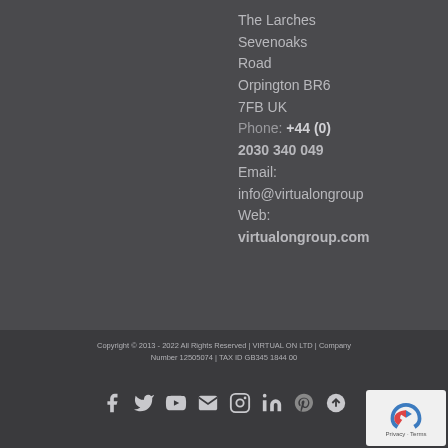The Larches
Sevenoaks
Road
Orpington BR6
7FB UK
Phone: +44 (0)
2030 340 049
Email:
info@virtualongroup
Web:
virtualongroup.com
Copyright © 2013 - 2022 All Rights Reserved | VIRTUAL ON LTD | Company Number 12505074 | TAX ID GB345 1844 00
[Figure (other): Social media icons row: Facebook, Twitter, YouTube, Email, Instagram, LinkedIn, Pinterest, Up arrow]